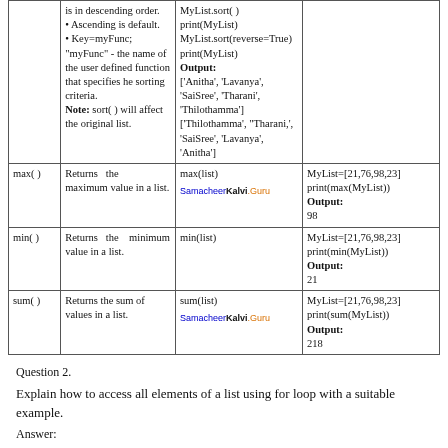|  |  | Syntax | Example |
| --- | --- | --- | --- |
|  | is in descending order.
• Ascending is default.
• Key=myFunc; "myFunc" - the name of the user defined function that specifies he sorting criteria.
Note: sort( ) will affect the original list. | MyList.sort()
print(MyList)
MyList.sort(reverse=True)
print(MyList)
Output:
['Anitha', 'Lavanya', 'SaiSree', 'Tharani', 'Thilothamma']
['Thilothamma', "Tharani,'", 'SaiSree', 'Lavanya', 'Anitha'] |  |
| max( ) | Returns the maximum value in a list. | max(list) | MyList=[21,76,98,23]
print(max(MyList))
Output:
98 |
| min( ) | Returns the minimum value in a list. | min(list) | MyList=[21,76,98,23]
print(min(MyList))
Output:
21 |
| sum( ) | Returns the sum of values in a list. | sum(list) | MyList=[21,76,98,23]
print(sum(MyList))
Output:
218 |
Question 2.
Explain how to access all elements of a list using for loop with a suitable example.
Answer: